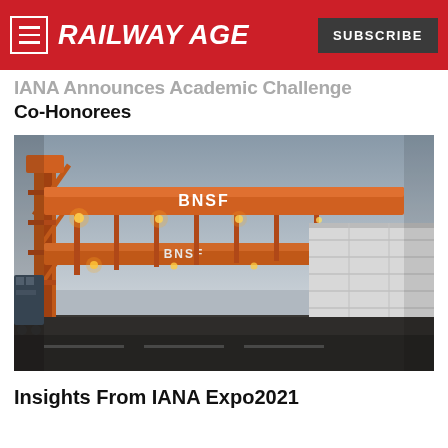RAILWAY AGE
IANA Announces Academic Challenge Co-Honorees
[Figure (photo): Large orange BNSF intermodal crane/gantry at a rail terminal, with shipping containers stacked on rail cars beneath it. Industrial rail yard scene with dramatic lighting.]
Insights From IANA Expo2021